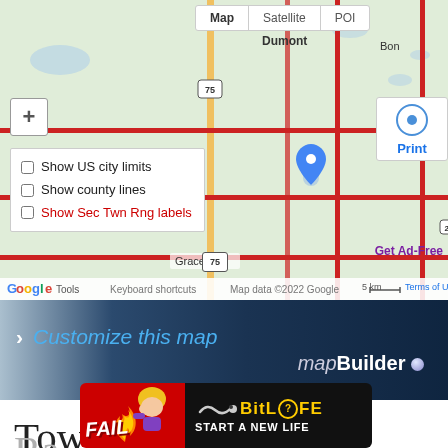[Figure (map): Google Map showing area around Chokio, Alberta, Graceville, and Dumont in Minnesota. Shows road network with red highways, green terrain, blue location pin marker, zoom controls, layer toggle buttons (Map, Satellite, POI), checkboxes for city limits/county lines/Sec Twn Rng labels, and Google Maps footer with scale bar.]
[Figure (infographic): Dark blue banner with 'Customize this map' text in blue italic and 'mapBuilder' branding with a sphere icon on the right side.]
randymajors.org Map Tools ©2022 randymajors.org
Township 125 North,
[Figure (photo): Advertisement banner showing BitLife game ad with 'FAIL' text on red background with cartoon character and 'START A NEW LIFE' text on dark background with BitLife logo.]